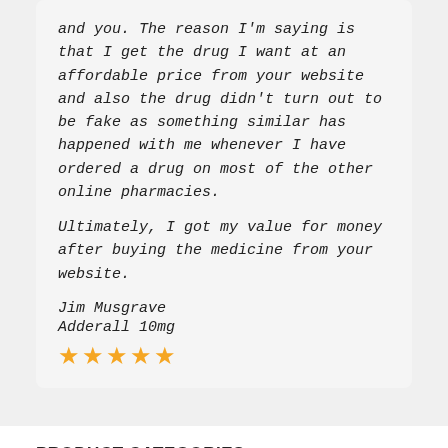and you. The reason I'm saying is that I get the drug I want at an affordable price from your website and also the drug didn't turn out to be fake as something similar has happened with me whenever I have ordered a drug on most of the other online pharmacies.

Ultimately, I got my value for money after buying the medicine from your website.
Jim Musgrave
Adderall 10mg
[Figure (other): 5-star rating shown as 5 orange filled stars]
PRODUCT CATEGORIES
Buy Adderall Online
Buy Adipex Online